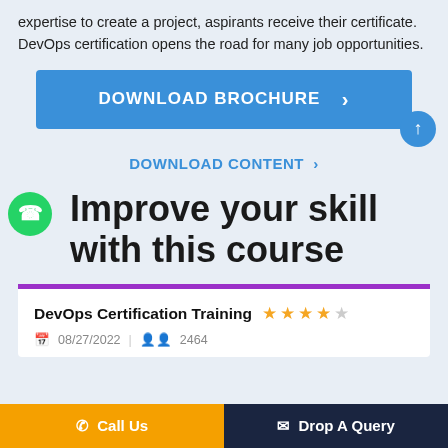expertise to create a project, aspirants receive their certificate. DevOps certification opens the road for many job opportunities.
[Figure (other): Blue download brochure button with right arrow]
DOWNLOAD CONTENT >
Improve your skill with this course
| DevOps Certification Training | Rating | Date | Students |
| --- | --- | --- | --- |
| DevOps Certification Training | 4/5 stars | 08/27/2022 | 2464 |
Call Us | Drop A Query